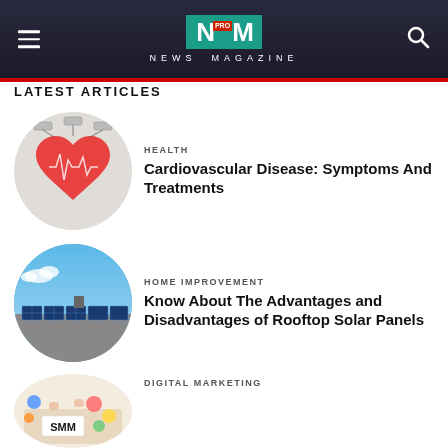NEWS MAGAZINE
LATEST ARTICLES
[Figure (illustration): Circular thumbnail: heart with network/cloud diagram illustration for cardiovascular article]
HEALTH
Cardiovascular Disease: Symptoms And Treatments
[Figure (photo): Circular thumbnail: rooftop solar panels against blue sky]
HOME IMPROVEMENT
Know About The Advantages and Disadvantages of Rooftop Solar Panels
[Figure (photo): Circular thumbnail: social media marketing (SMM) image with colorful icons]
DIGITAL MARKETING